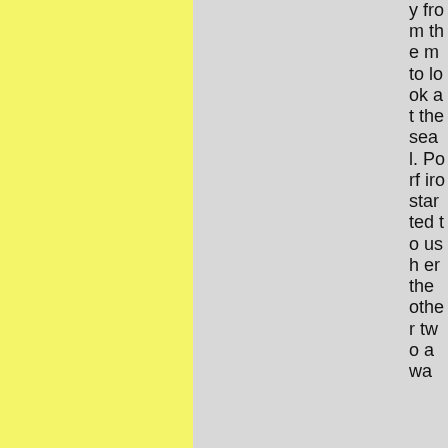y from them to look at the seal. Porfiro started to usher the other two awa